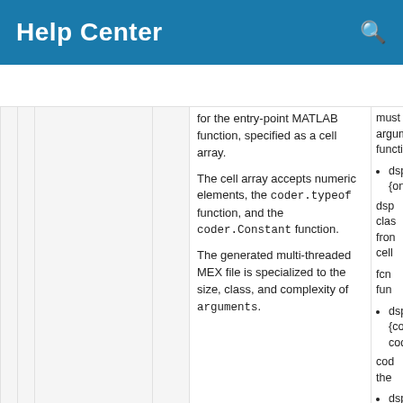Help Center
Resources ▼
|  |  |  |  | for the entry-point MATLAB function, specified as a cell array.

The cell array accepts numeric elements, the coder.typeof function, and the coder.Constant function.

The generated multi-threaded MEX file is specialized to the size, class, and complexity of arguments. | must b argume functio
• dsp {on

dsp clas fron cell

fcn fun
• dsp {co cod

cod the
• dsp {co |